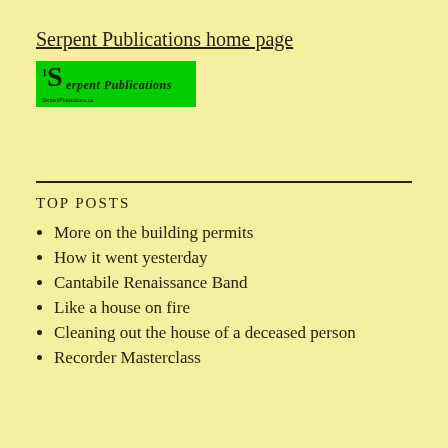Serpent Publications home page
[Figure (logo): Serpent Publications logo: green rectangle with a stylized 'S' and the text 'Serpent Publications' in gothic/blackletter font on a bright green background]
TOP POSTS
More on the building permits
How it went yesterday
Cantabile Renaissance Band
Like a house on fire
Cleaning out the house of a deceased person
Recorder Masterclass